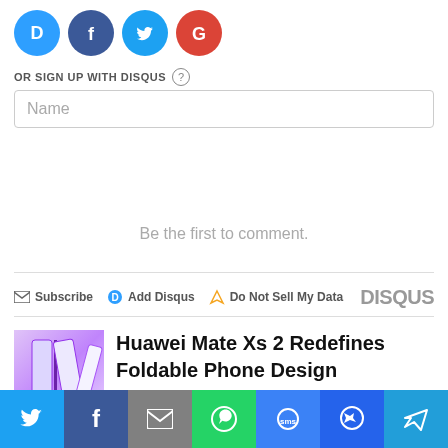[Figure (screenshot): Social login icons: Disqus (blue), Facebook (dark blue), Twitter (light blue), Google (red) in circles]
OR SIGN UP WITH DISQUS ?
Name
Be the first to comment.
Subscribe  Add Disqus  Do Not Sell My Data  DISQUS
[Figure (photo): Huawei Mate Xs 2 foldable phone product image]
Huawei Mate Xs 2 Redefines Foldable Phone Design
[Figure (screenshot): Social sharing bottom bar: Twitter, Facebook, Email, WhatsApp, SMS, Messenger, Telegram]